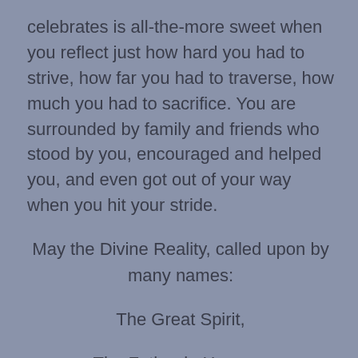celebrates is all-the-more sweet when you reflect just how hard you had to strive, how far you had to traverse, how much you had to sacrifice. You are surrounded by family and friends who stood by you, encouraged and helped you, and even got out of your way when you hit your stride.
May the Divine Reality, called upon by many names:
The Great Spirit,
The Father in Heaven,